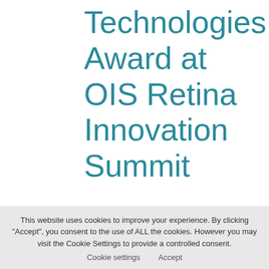Technologies Award at OIS Retina Innovation Summit
On July 14, 2022   /  Nanoscope Press Release,
This website uses cookies to improve your experience. By clicking "Accept", you consent to the use of ALL the cookies. However you may visit the Cookie Settings to provide a controlled consent.  Cookie settings  Accept